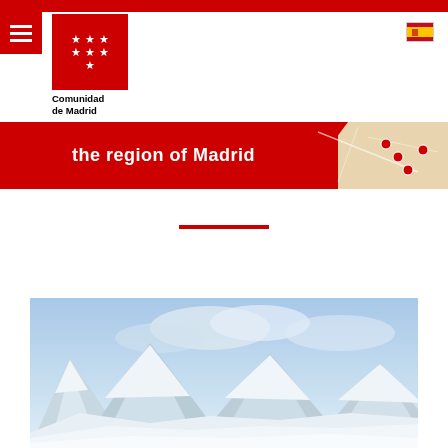Comunidad de Madrid - the region of Madrid
[Figure (logo): Comunidad de Madrid logo with red square containing seven white stars arranged in rows, below which reads 'Comunidad de Madrid' in bold black text]
[Figure (photo): Spanish flag icon in top right corner]
[Figure (infographic): Red banner with white text 'the region of Madrid' with a map of the Madrid region on the right side showing location markers]
[Figure (photo): Snowy mountain landscape with snow-covered peaks under a blue sky with white clouds]